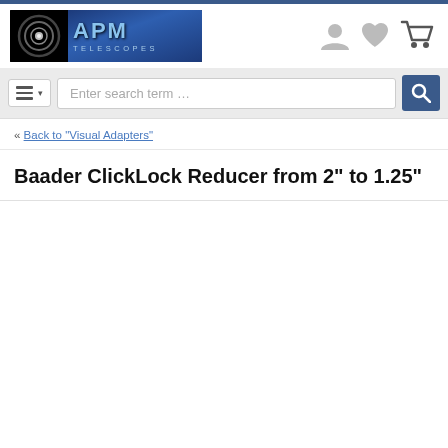[Figure (logo): APM Telescopes logo with circular telescope lens icon on black background and blue gradient text]
Enter search term …
« Back to "Visual Adapters"
Baader ClickLock Reducer from 2" to 1.25"